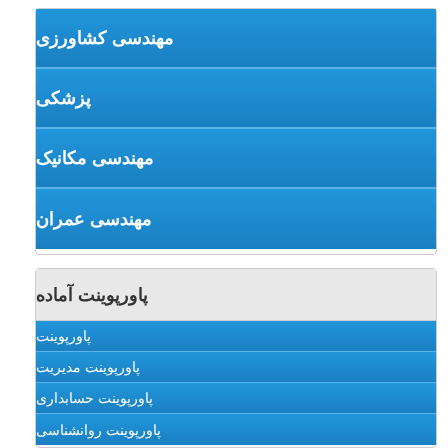مهندسی کشاورزی
پزشکی
مهندسی مکانیک
مهندسی عمران
پاورپوینت آماده
پاورپوینت
پاورپوینت مدیریت
پاورپوینت حسابداری
پاورپوینت روانشناسی